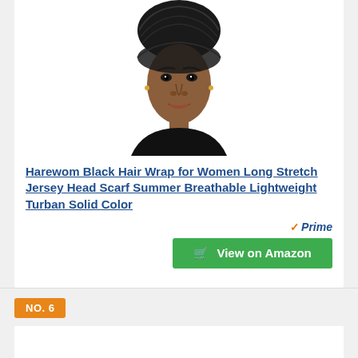[Figure (photo): Woman wearing a black hair wrap/turban head scarf, shown from shoulders up against white background]
Harewom Black Hair Wrap for Women Long Stretch Jersey Head Scarf Summer Breathable Lightweight Turban Solid Color
[Figure (logo): Amazon Prime badge with orange checkmark and blue italic 'Prime' text]
View on Amazon
NO. 6
[Figure (photo): Brown leather boots with buckles and lace-up detail, shown from above against white background]